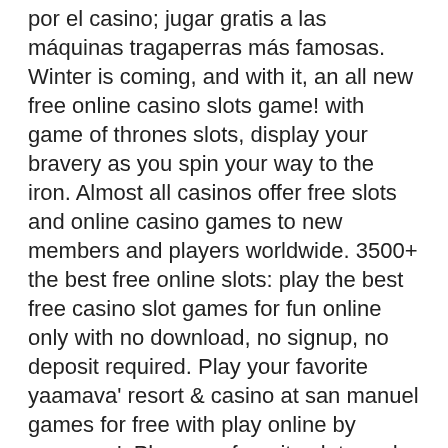por el casino; jugar gratis a las máquinas tragaperras más famosas. Winter is coming, and with it, an all new free online casino slots game! with game of thrones slots, display your bravery as you spin your way to the iron. Almost all casinos offer free slots and online casino games to new members and players worldwide. 3500+ the best free online slots: play the best free casino slot games for fun online only with no download, no signup, no deposit required. Play your favorite yaamava' resort &amp; casino at san manuel games for free with play online by yaamava'. Play your favorite slots and table games! Bier haus oktoberfest slots - free play online slot machine game. 06 www casino games com free download, heidi's bier. Starting in 1888 the machines started to dispense coins, and the slots world has never looked back! american roulette, a highly popular casino game, is